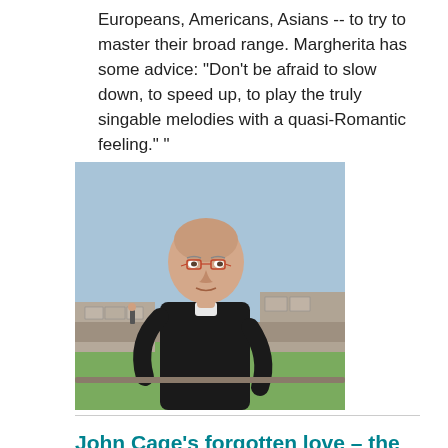Europeans, Americans, Asians -- to try to master their broad range. Margherita has some advice: “Don’t be afraid to slow down, to speed up, to play the truly singable melodies with a quasi-Romantic feeling.” “
[Figure (photo): Photo of a bald man wearing glasses and a dark sweater, standing outdoors near stone ruins on a sunny day.]
John Cage’s forgotten love – the humble mushroom
by Michael Johnson
Jul 18th 2020
EXTRACT: "The dizzying output of John Cage the musician, the poet, the writer, the thinker, the artist, was so prolific that one of his sidelines – his